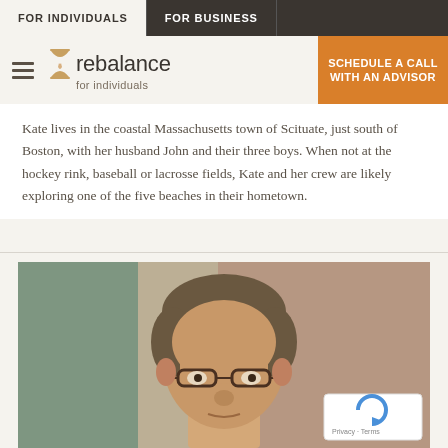FOR INDIVIDUALS | FOR BUSINESS
[Figure (logo): Rebalance logo with hourglass icon and text 'rebalance for individuals', hamburger menu icon, and orange 'SCHEDULE A CALL WITH AN ADVISOR' button]
Kate lives in the coastal Massachusetts town of Scituate, just south of Boston, with her husband John and their three boys. When not at the hockey rink, baseball or lacrosse fields, Kate and her crew are likely exploring one of the five beaches in their hometown.
[Figure (photo): Portrait photo of a middle-aged man with short gray-brown hair wearing glasses, photographed outdoors against a brick wall background]